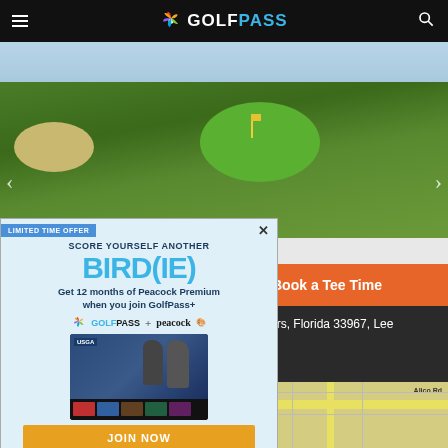GolfPass
[Figure (photo): Aerial view of a golf course hole with green fairway and sand trap]
[Figure (screenshot): GolfPass + Peacock advertisement overlay: 'LIMITED TIME OFFER - SCORE YOURSELF ANOTHER BIRD(IE) - Get 12 months of Peacock Premium when you join GolfPass+' with JOIN NOW button]
Book a Tee Time
ers, Florida 33967, Lee
[Figure (map): Street map showing Alico Rd area]